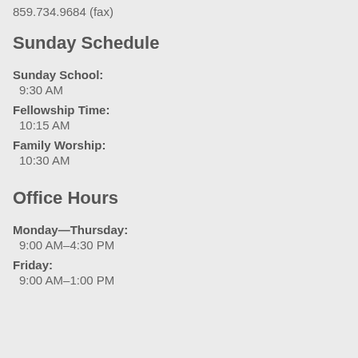859.734.9684 (fax)
Sunday Schedule
Sunday School: 9:30 AM
Fellowship Time: 10:15 AM
Family Worship: 10:30 AM
Office Hours
Monday—Thursday: 9:00 AM–4:30 PM
Friday: 9:00 AM–1:00 PM